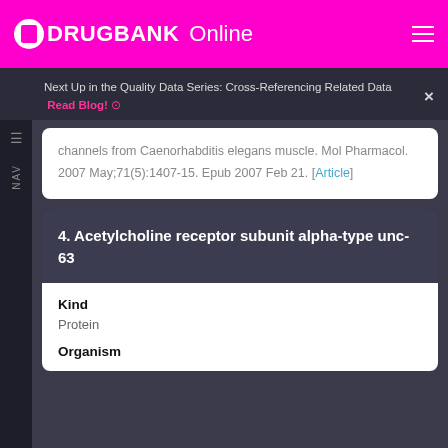DRUGBANK Online
Next Up in the Quality Data Series: Cross-Referencing Related Data   Read Blog! ⊙   ×
channels from Caenorhabditis elegans muscle. Mol Pharmacol. 2007 May;71(5):1407-15. Epub 2007 Feb 21. [Article]
4. Acetylcholine receptor subunit alpha-type unc-63
Kind
Protein
Organism